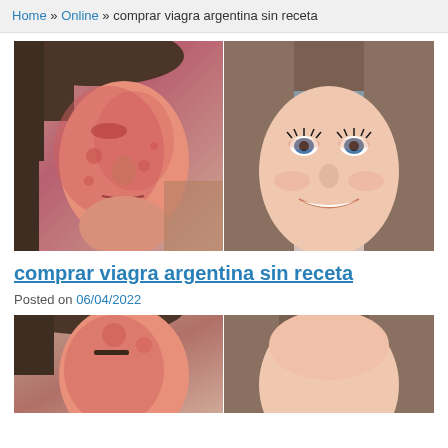Home » Online » comprar viagra argentina sin receta
[Figure (photo): Before and after comparison photos: left shows a woman's face with reddened, irritated skin; right shows a smiling woman with clear skin and makeup]
comprar viagra argentina sin receta
Posted on 06/04/2022
[Figure (photo): Second pair of before and after comparison photos showing faces, partially visible at bottom of page]